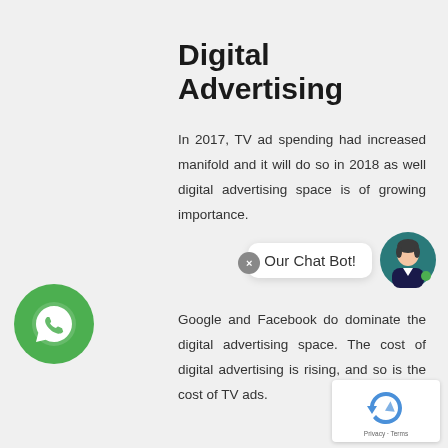Digital Advertising
In 2017, TV ad spending had increased manifold and it will do so in 2018 as well digital advertising space is of growing importance.
[Figure (illustration): Chat bot popup overlay with avatar and close button. Shows 'Our Chat Bot!' label in a white speech bubble, with a female avatar icon in teal/dark colors on the right.]
[Figure (illustration): Green WhatsApp button with phone/chat icon on the left side of the page.]
Google and Facebook do dominate the digital advertising space. The cost of digital advertising is rising, and so is the cost of TV ads.
[Figure (illustration): Google reCAPTCHA widget in bottom right corner showing recycling arrows logo and 'Privacy - Terms' text.]